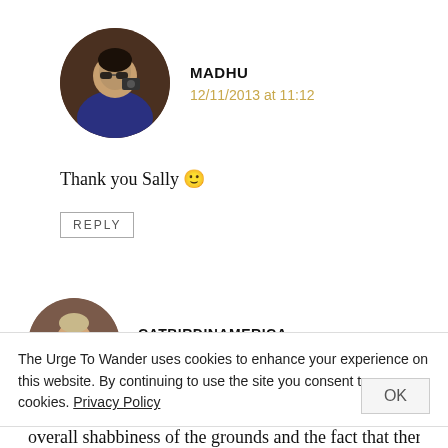[Figure (photo): Circular avatar photo of Madhu, a person holding a camera outdoors]
MADHU
12/11/2013 at 11:12
Thank you Sally 🙂
REPLY
[Figure (photo): Circular avatar photo of CatbirdInAmerica, a smiling person outdoors]
CATBIRDINAMERICA
11/11/2013 at 19:20
The Urge To Wander uses cookies to enhance your experience on this website. By continuing to use the site you consent to our cookies. Privacy Policy
OK
overall shabbiness of the grounds and the fact that there